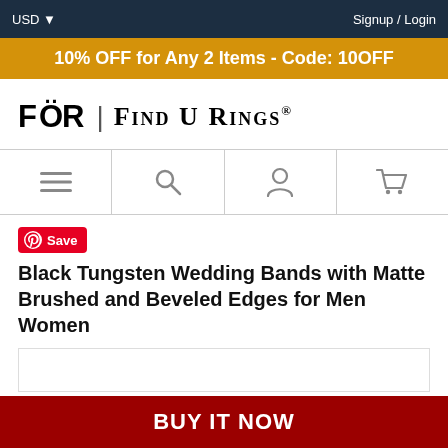USD   Signup / Login
10% OFF for Any 2 Items - Code: 10OFF
[Figure (logo): FOR | FIND U RINGS logo in black serif and sans-serif text with registered trademark symbol]
[Figure (infographic): Navigation icon bar with hamburger menu, search, user account, and shopping cart icons]
[Figure (illustration): Pinterest Save badge (red pill with Pinterest logo and 'Save' text)]
Black Tungsten Wedding Bands with Matte Brushed and Beveled Edges for Men Women
[Figure (photo): Product image area (partial, white rectangle with border)]
BUY IT NOW